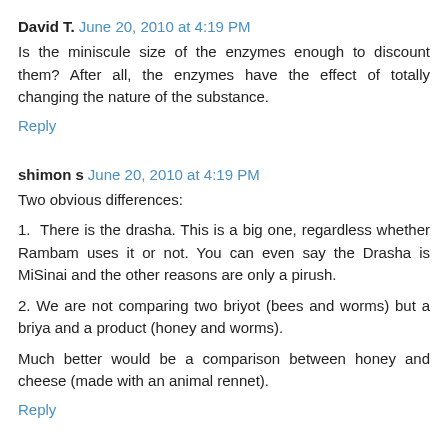David T. June 20, 2010 at 4:19 PM
Is the miniscule size of the enzymes enough to discount them? After all, the enzymes have the effect of totally changing the nature of the substance.
Reply
shimon s June 20, 2010 at 4:19 PM
Two obvious differences:
1. There is the drasha. This is a big one, regardless whether Rambam uses it or not. You can even say the Drasha is MiSinai and the other reasons are only a pirush.
2. We are not comparing two briyot (bees and worms) but a briya and a product (honey and worms).
Much better would be a comparison between honey and cheese (made with an animal rennet).
Reply